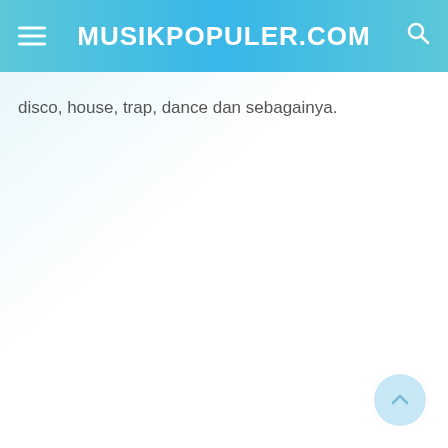MUSIKPOPULER.COM
disco, house, trap, dance dan sebagainya.